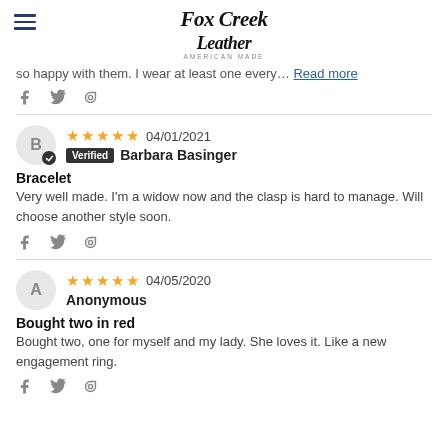Fox Creek Leather
so happy with them. I wear at least one every… Read more
[social share icons: Facebook, Twitter, Pinterest]
★★★★★ 04/01/2021 Verified Barbara Basinger
Bracelet
Very well made. I'm a widow now and the clasp is hard to manage. Will choose another style soon.
[social share icons: Facebook, Twitter, Pinterest]
★★★★★ 04/05/2020 Anonymous
Bought two in red
Bought two, one for myself and my lady. She loves it. Like a new engagement ring.
[social share icons: Facebook, Twitter, Pinterest]